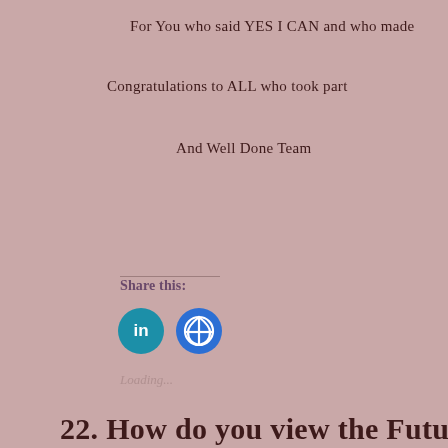For You who said YES I CAN and who made
Congratulations to ALL who took part
And Well Done Team
Share this:
[Figure (other): LinkedIn and Facebook share buttons (circular icons)]
Loading...
22. How do you view the Futu